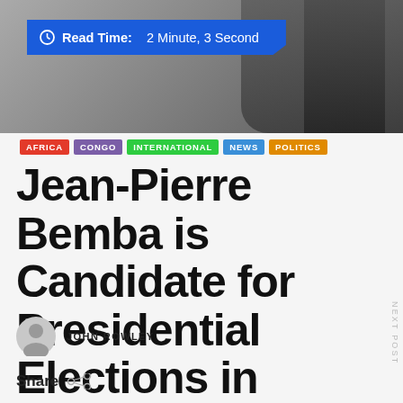[Figure (photo): Hero image showing a man in a suit, partially visible, with a blue read time banner overlay]
Read Time: 2 Minute, 3 Second
AFRICA
CONGO
INTERNATIONAL
NEWS
POLITICS
Jean-Pierre Bemba is Candidate for Presidential Elections in Congo
NEXT POST
JOHN ROWLEY
Share